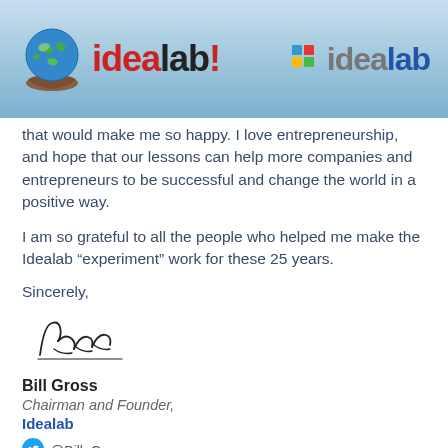[Figure (logo): Idealab header with globe logo on left showing 'idealab!' in red and black, and blue 'idealab' logo on right, on a blue gradient background]
that would make me so happy. I love entrepreneurship, and hope that our lessons can help more companies and entrepreneurs to be successful and change the world in a positive way.
I am so grateful to all the people who helped me make the Idealab “experiment” work for these 25 years.
Sincerely,
[Figure (illustration): Handwritten signature of Bill Gross]
Bill Gross
Chairman and Founder,
Idealab
[Figure (logo): Twitter bird logo icon in blue]
@Bill_Gross